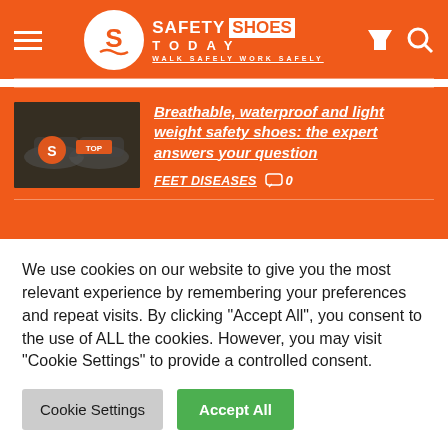[Figure (logo): Safety Shoes Today website header logo with hamburger menu, circular S logo, SAFETY SHOES TODAY text, WALK SAFELY WORK SAFELY tagline, filter and search icons on orange background]
[Figure (photo): Thumbnail image of safety shoes on dark background with orange Safety Shoes Today logo overlay]
Breathable, waterproof and light weight safety shoes: the expert answers your question
FEET DISEASES  💬 0
We use cookies on our website to give you the most relevant experience by remembering your preferences and repeat visits. By clicking "Accept All", you consent to the use of ALL the cookies. However, you may visit "Cookie Settings" to provide a controlled consent.
Cookie Settings   Accept All